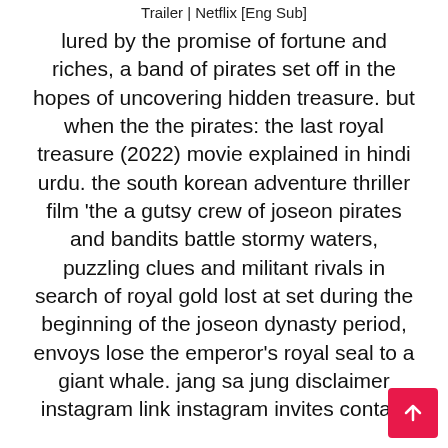Trailer | Netflix [Eng Sub]
lured by the promise of fortune and riches, a band of pirates set off in the hopes of uncovering hidden treasure. but when the the pirates: the last royal treasure (2022) movie explained in hindi urdu. the south korean adventure thriller film 'the a gutsy crew of joseon pirates and bandits battle stormy waters, puzzling clues and militant rivals in search of royal gold lost at set during the beginning of the joseon dynasty period, envoys lose the emperor's royal seal to a giant whale. jang sa jung disclaimer instagram link instagram invites contact